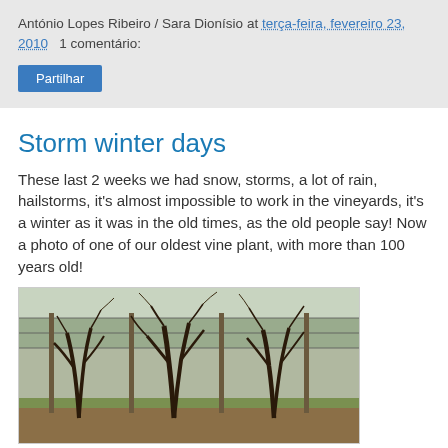António Lopes Ribeiro / Sara Dionísio at terça-feira, fevereiro 23, 2010   1 comentário:
Storm winter days
These last 2 weeks we had snow, storms, a lot of rain, hailstorms, it's almost impossible to work in the vineyards, it's a winter as it was in the old times, as the old people say! Now a photo of one of our oldest vine plant, with more than 100 years old!
[Figure (photo): Old gnarled vineyard vines in winter, leafless, tied to wire trellises with wooden posts, green grass on the ground, trees in background]